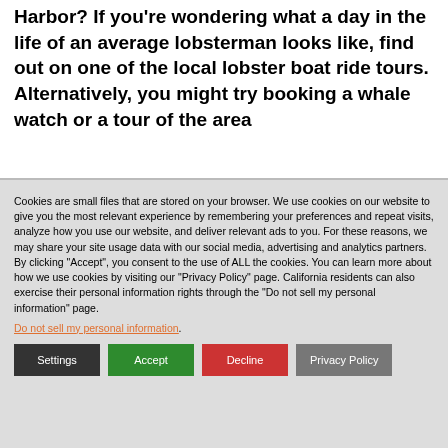Harbor? If you're wondering what a day in the life of an average lobsterman looks like, find out on one of the local lobster boat ride tours. Alternatively, you might try booking a whale watch or a tour of the area
Cookies are small files that are stored on your browser. We use cookies on our website to give you the most relevant experience by remembering your preferences and repeat visits, analyze how you use our website, and deliver relevant ads to you. For these reasons, we may share your site usage data with our social media, advertising and analytics partners. By clicking "Accept", you consent to the use of ALL the cookies. You can learn more about how we use cookies by visiting our "Privacy Policy" page. California residents can also exercise their personal information rights through the "Do not sell my personal information" page.
Do not sell my personal information.